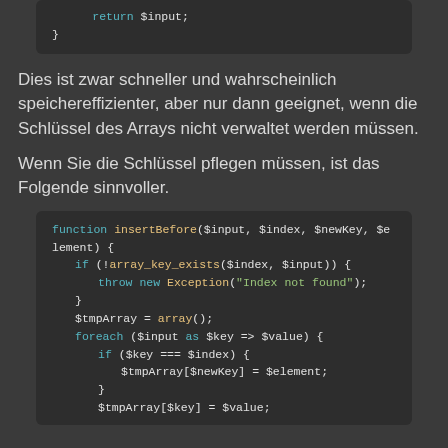[Figure (screenshot): Code block showing PHP: return $input; and closing brace]
Dies ist zwar schneller und wahrscheinlich speichereffizienter, aber nur dann geeignet, wenn die Schlüssel des Arrays nicht verwaltet werden müssen.
Wenn Sie die Schlüssel pflegen müssen, ist das Folgende sinnvoller.
[Figure (screenshot): PHP code block showing function insertBefore($input, $index, $newKey, $element) with if (!array_key_exists($index, $input)) { throw new Exception("Index not found"); } $tmpArray = array(); foreach ($input as $key => $value) { if ($key === $index) { $tmpArray[$newKey] = $element; } $tmpArray[$key] = $value;]